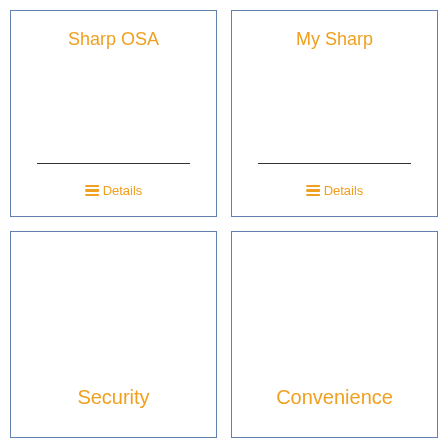Sharp OSA
Details
My Sharp
Details
Security
Convenience